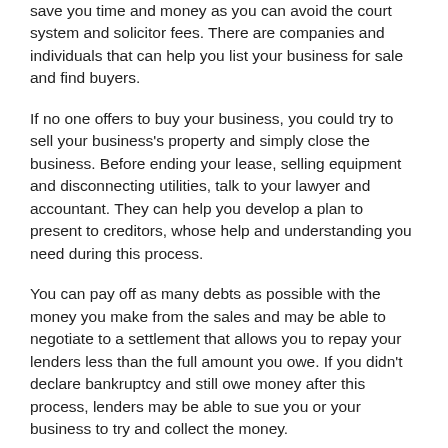save you time and money as you can avoid the court system and solicitor fees. There are companies and individuals that can help you list your business for sale and find buyers.
If no one offers to buy your business, you could try to sell your business's property and simply close the business. Before ending your lease, selling equipment and disconnecting utilities, talk to your lawyer and accountant. They can help you develop a plan to present to creditors, whose help and understanding you need during this process.
You can pay off as many debts as possible with the money you make from the sales and may be able to negotiate to a settlement that allows you to repay your lenders less than the full amount you owe. If you didn't declare bankruptcy and still owe money after this process, lenders may be able to sue you or your business to try and collect the money.